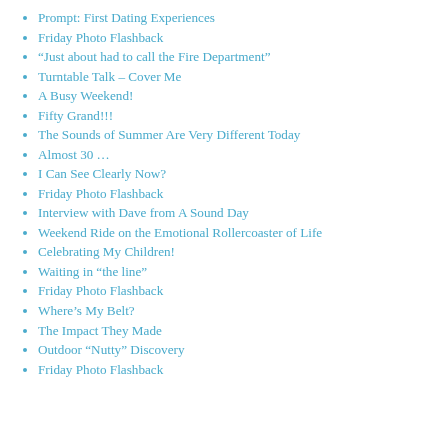Prompt: First Dating Experiences
Friday Photo Flashback
“Just about had to call the Fire Department”
Turntable Talk – Cover Me
A Busy Weekend!
Fifty Grand!!!
The Sounds of Summer Are Very Different Today
Almost 30 …
I Can See Clearly Now?
Friday Photo Flashback
Interview with Dave from A Sound Day
Weekend Ride on the Emotional Rollercoaster of Life
Celebrating My Children!
Waiting in “the line”
Friday Photo Flashback
Where’s My Belt?
The Impact They Made
Outdoor “Nutty” Discovery
Friday Photo Flashback